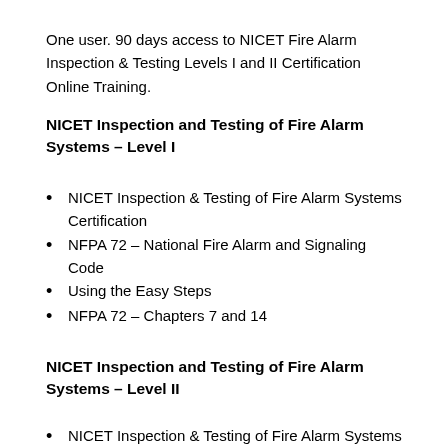One user. 90 days access to NICET Fire Alarm Inspection & Testing Levels I and II Certification Online Training.
NICET Inspection and Testing of Fire Alarm Systems – Level I
NICET Inspection & Testing of Fire Alarm Systems Certification
NFPA 72 – National Fire Alarm and Signaling Code
Using the Easy Steps
NFPA 72 – Chapters 7 and 14
NICET Inspection and Testing of Fire Alarm Systems – Level II
NICET Inspection & Testing of Fire Alarm Systems